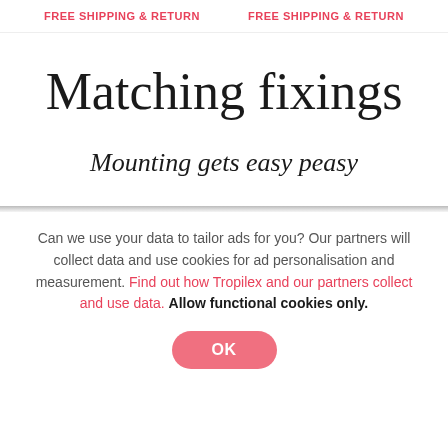FREE SHIPPING & RETURN   FREE SHIPPING & RETURN
Matching fixings
Mounting gets easy peasy
Can we use your data to tailor ads for you? Our partners will collect data and use cookies for ad personalisation and measurement. Find out how Tropilex and our partners collect and use data. Allow functional cookies only.
OK